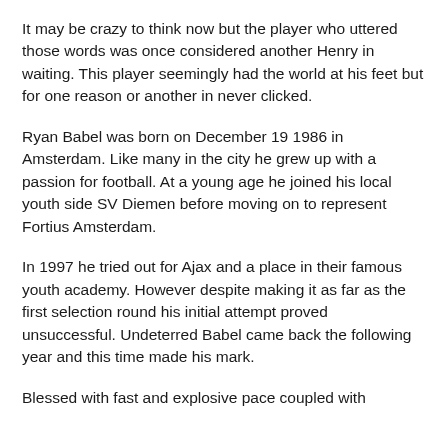It may be crazy to think now but the player who uttered those words was once considered another Henry in waiting. This player seemingly had the world at his feet but for one reason or another in never clicked.
Ryan Babel was born on December 19 1986 in Amsterdam. Like many in the city he grew up with a passion for football. At a young age he joined his local youth side SV Diemen before moving on to represent Fortius Amsterdam.
In 1997 he tried out for Ajax and a place in their famous youth academy. However despite making it as far as the first selection round his initial attempt proved unsuccessful. Undeterred Babel came back the following year and this time made his mark.
Blessed with fast and explosive pace coupled with